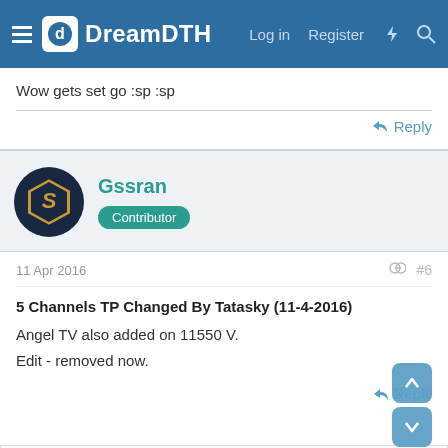DreamDTH — Log in  Register
Wow gets set go :sp :sp
Reply
Gssran
Contributor
11 Apr 2016  #6
5 Channels TP Changed By Tatasky (11-4-2016)
Angel TV also added on 11550 V.
Edit - removed now.
Reply
Rushil